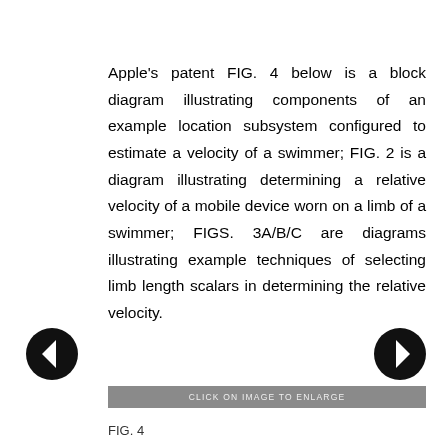Apple's patent FIG. 4 below is a block diagram illustrating components of an example location subsystem configured to estimate a velocity of a swimmer; FIG. 2 is a diagram illustrating determining a relative velocity of a mobile device worn on a limb of a swimmer; FIGS. 3A/B/C are diagrams illustrating example techniques of selecting limb length scalars in determining the relative velocity.
[Figure (other): Left navigation arrow button (back) — black circle with white left-pointing arrow]
[Figure (other): Right navigation arrow button (forward) — black circle with white right-pointing arrow]
CLICK ON IMAGE TO ENLARGE
FIG. 4